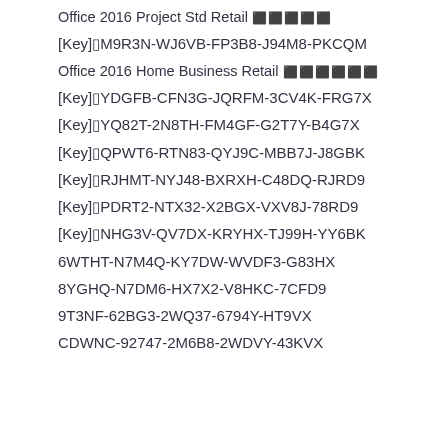Office 2016 Project Std Retail 🟫🟫🟫🟫🟫
[Key]▯M9R3N-WJ6VB-FP3B8-J94M8-PKCQM
Office 2016 Home Business Retail 🟫🟫🟫🟫🟫🟫
[Key]▯YDGFB-CFN3G-JQRFM-3CV4K-FRG7X
[Key]▯YQ82T-2N8TH-FM4GF-G2T7Y-B4G7X
[Key]▯QPWT6-RTN83-QYJ9C-MBB7J-J8GBK
[Key]▯RJHMT-NYJ48-BXRXH-C48DQ-RJRD9
[Key]▯PDRT2-NTX32-X2BGX-VXV8J-78RD9
[Key]▯NHG3V-QV7DX-KRYHX-TJ99H-YY6BK
6WTHT-N7M4Q-KY7DW-WVDF3-G83HX
8YGHQ-N7DM6-HX7X2-V8HKC-7CFD9
9T3NF-62BG3-2WQ37-6794Y-HT9VX
CDWNC-92747-2M6B8-2WDVY-43KVX